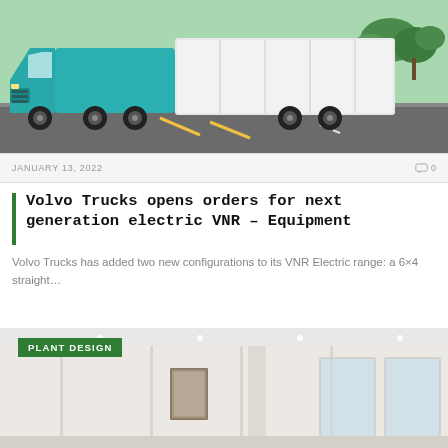[Figure (photo): Teal/green Volvo electric semi-truck driving on a road with green trees in background]
JANUARY 13, 2022
0
Volvo Trucks opens orders for next generation electric VNR – Equipment
Volvo Trucks has added two new configurations to its VNR Electric range: a 6×4 straight…
[Figure (photo): Interior room with white walls, recessed lighting, windows, and framed artwork — PLANT DESIGN category label in green overlay]